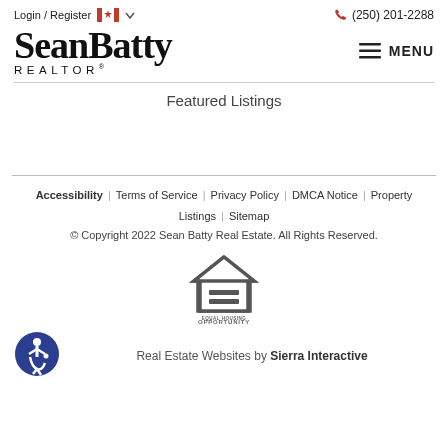Login / Register  (250) 201-2288
SeanBatty REALTOR®
Featured Listings
Accessibility | Terms of Service | Privacy Policy | DMCA Notice | Property Listings | Sitemap
© Copyright 2022 Sean Batty Real Estate. All Rights Reserved.
[Figure (logo): Equal Housing Opportunity logo — house outline with an equals sign inside]
Real Estate Websites by Sierra Interactive